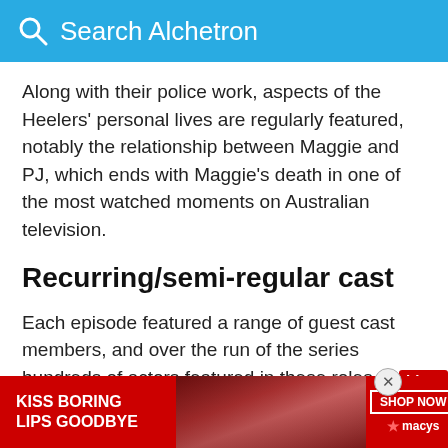Search Alchetron
Along with their police work, aspects of the Heelers' personal lives are regularly featured, notably the relationship between Maggie and PJ, which ends with Maggie's death in one of the most watched moments on Australian television.
Recurring/semi-regular cast
Each episode featured a range of guest cast members, and over the run of the series hundreds of actors featured in these roles.
As well as the main (regular) cast members, a numb appea
[Figure (screenshot): Advertisement overlay: KISS BORING LIPS GOODBYE with SHOP NOW macys logo, and a covid-19 badge on the right side.]